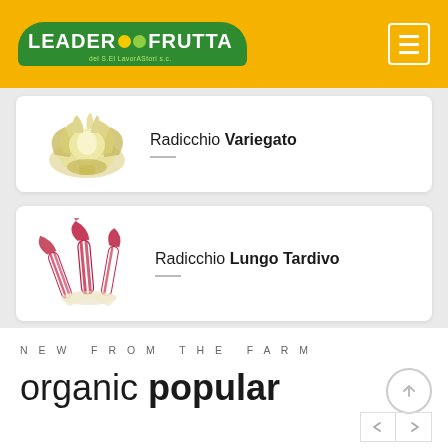[Figure (logo): Leader Frutta logo - green banner shape with yellow and green dots and white text]
Radicchio Variegato
[Figure (photo): Radicchio Variegato - pale yellow-green leafy vegetable]
Radicchio Lungo Tardivo
[Figure (photo): Radicchio Lungo Tardivo - red and white elongated chicory with curled tips]
NEW FROM THE FARM
organic popular